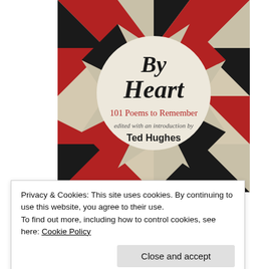[Figure (illustration): Book cover of 'By Heart: 101 Poems to Remember' edited with an introduction by Ted Hughes. Geometric pattern background of red, black and beige triangles radiating from a central cream circle containing the book title and editor information.]
Privacy & Cookies: This site uses cookies. By continuing to use this website, you agree to their use.
To find out more, including how to control cookies, see here: Cookie Policy
Close and accept